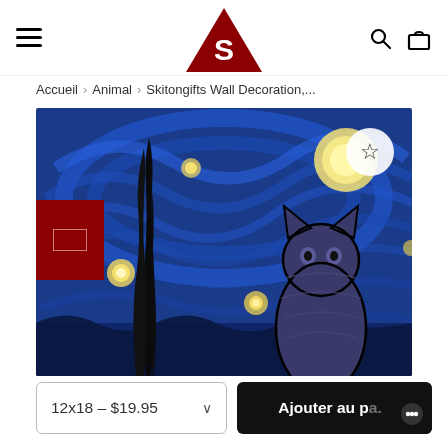≡  [S logo]  🔍 🛍
Accueil > Animal > Skitongifts Wall Decoration,...
[Figure (photo): Product photo: Van Gogh Starry Night artwork with a cat superimposed, used as wall decoration print. A star/wishlist icon appears in a white circle at top right of the image.]
12x18 - $19.95 ∨
Ajouter au pa...